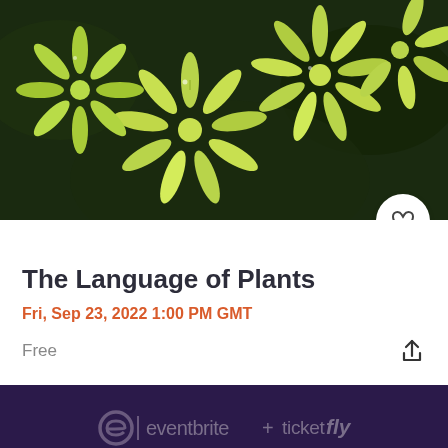[Figure (photo): Close-up photo of light green succulent or sedum plant with star-shaped tips, dark background]
The Language of Plants
Fri, Sep 23, 2022 1:00 PM GMT
Free
eventbrite + ticketfly
© 2022 Eventbrite